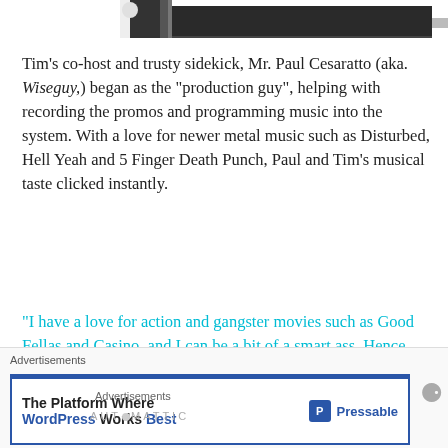[Figure (photo): Partial view of a dark photo strip at the top of the page showing partial images]
Tim's co-host and trusty sidekick, Mr. Paul Cesaratto (aka. Wiseguy,) began as the "production guy", helping with recording the promos and programming music into the system. With a love for newer metal music such as Disturbed, Hell Yeah and 5 Finger Death Punch, Paul and Tim's musical taste clicked instantly.
"I have a love for action and gangster movies such as Good Fellas and Casino, and I can be a bit of a smart ass. Hence Tim named me Wiseguy as my on-the-air name."
Advertisements
Advertisements
[Figure (screenshot): Pressable advertisement banner: The Platform Where WordPress Works Best, with Pressable logo]